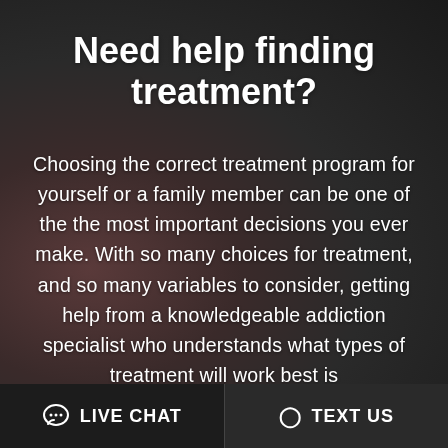Need help finding treatment?
Choosing the correct treatment program for yourself or a family member can be one of the the most important decisions you ever make. With so many choices for treatment, and so many variables to consider, getting help from a knowledgeable addiction specialist who understands what types of treatment will work best is
LIVE CHAT
TEXT US